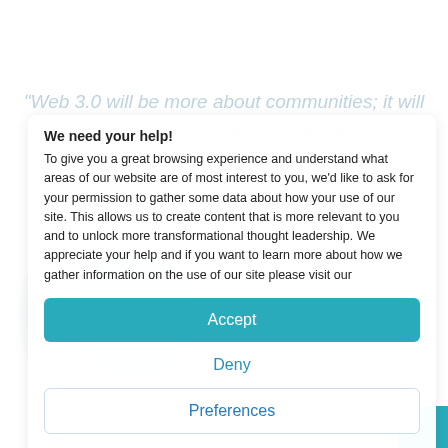"Web 3.0 will be more about communities; it will be about people getting together"
Account Executive, Relia
We need your help!
To give you a great browsing experience and understand what areas of our website are of most interest to you, we'd like to ask for your permission to gather some data about how your use of our site. This allows us to create content that is more relevant to you and to unlock more transformational thought leadership. We appreciate your help and if you want to learn more about how we gather information on the use of our site please visit our
Accept
Deny
Preferences
Privacy Policy